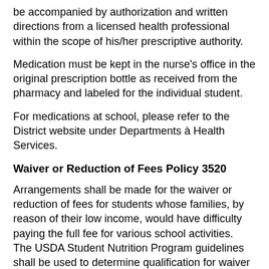be accompanied by authorization and written directions from a licensed health professional within the scope of his/her prescriptive authority.
Medication must be kept in the nurse's office in the original prescription bottle as received from the pharmacy and labeled for the individual student.
For medications at school, please refer to the District website under Departments à Health Services.
Waiver or Reduction of Fees Policy 3520
Arrangements shall be made for the waiver or reduction of fees for students whose families, by reason of their low income, would have difficulty paying the full fee for various school activities.  The USDA Student Nutrition Program guidelines shall be used to determine qualification for waiver of fees. Assistance will be considered by Sequim School District without regard to race, color, national origin,